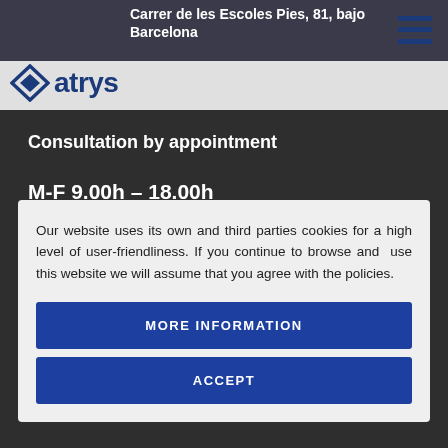Carrer de les Escoles Pies, 81, bajo Barcelona — atrys logo
Consultation by appointment
M-F 9.00h – 18.00h
citacionbarcelona@atryshealth.com
Our website uses its own and third parties cookies for a high level of user-friendliness. If you continue to browse and use this website we will assume that you agree with the policies.
MORE INFORMATION
ACCEPT